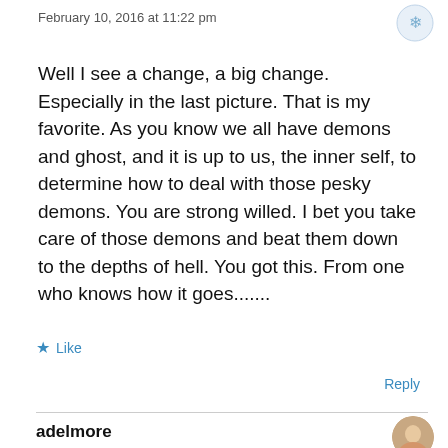February 10, 2016 at 11:22 pm
Well I see a change, a big change. Especially in the last picture. That is my favorite. As you know we all have demons and ghost, and it is up to us, the inner self, to determine how to deal with those pesky demons. You are strong willed. I bet you take care of those demons and beat them down to the depths of hell. You got this. From one who knows how it goes.......
Like
Reply
adelmore